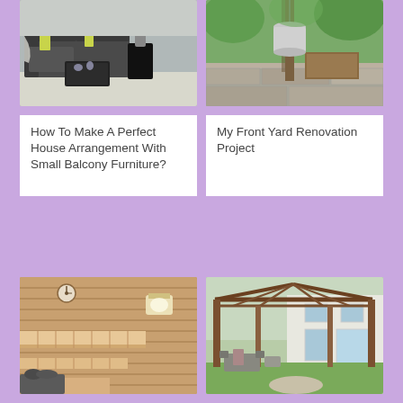[Figure (photo): Outdoor patio with dark grey modular sofa set, glass coffee table, and yellow accent cushions on a light grey deck]
How To Make A Perfect House Arrangement With Small Balcony Furniture?
[Figure (photo): A metal bucket hanging from a wooden post in a lush green garden with stone wall and wooden planter]
My Front Yard Renovation Project
[Figure (photo): Interior of a wooden sauna with benches, warm lighting, and a round clock on the wall]
[Figure (photo): Large wooden pergola structure over an outdoor patio with furniture, attached to a white house with green lawn]